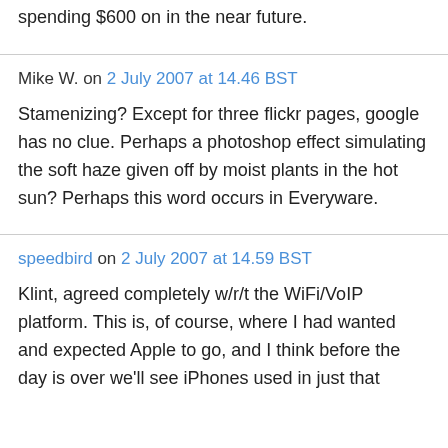spending $600 on in the near future.
Mike W. on 2 July 2007 at 14.46 BST
Stamenizing? Except for three flickr pages, google has no clue. Perhaps a photoshop effect simulating the soft haze given off by moist plants in the hot sun? Perhaps this word occurs in Everyware.
speedbird on 2 July 2007 at 14.59 BST
Klint, agreed completely w/r/t the WiFi/VoIP platform. This is, of course, where I had wanted and expected Apple to go, and I think before the day is over we'll see iPhones used in just that